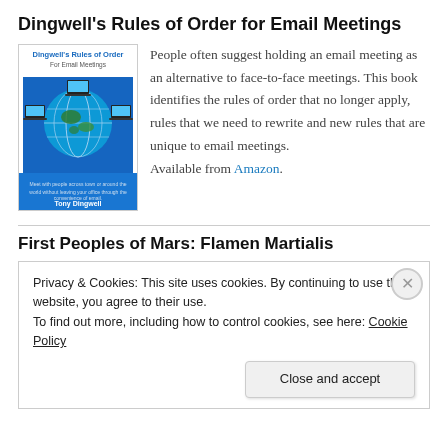Dingwell's Rules of Order for Email Meetings
[Figure (illustration): Book cover for 'Dingwell's Rules of Order For Email Meetings' by Tony Dingwell, showing a globe with laptops connected around it on a blue background.]
People often suggest holding an email meeting as an alternative to face-to-face meetings. This book identifies the rules of order that no longer apply, rules that we need to rewrite and new rules that are unique to email meetings. Available from Amazon.
First Peoples of Mars: Flamen Martialis
Privacy & Cookies: This site uses cookies. By continuing to use this website, you agree to their use.
To find out more, including how to control cookies, see here: Cookie Policy
Close and accept